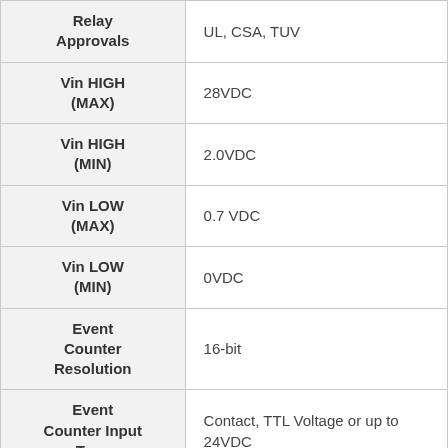| Parameter | Value |
| --- | --- |
| Relay Approvals | UL, CSA, TUV |
| Vin HIGH (MAX) | 28VDC |
| Vin HIGH (MIN) | 2.0VDC |
| Vin LOW (MAX) | 0.7 VDC |
| Vin LOW (MIN) | 0VDC |
| Event Counter Resolution | 16-bit |
| Event Counter Input Type | Contact, TTL Voltage or up to 24VDC |